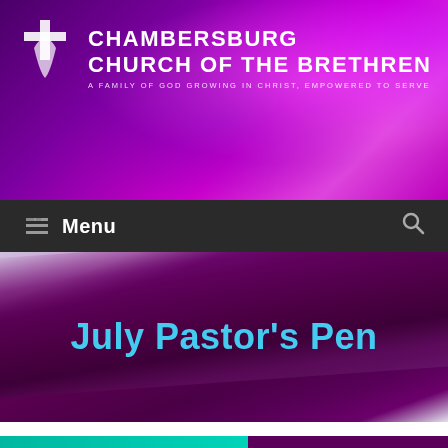[Figure (logo): Chambersburg Church of the Brethren logo with cross and leaf symbol on purple/magenta smoky background]
CHAMBERSBURG CHURCH OF THE BRETHREN
A FAMILY OF GOD GROWING IN CHRIST, EMPOWERED TO SERVE
Menu
July Pastor's Pen